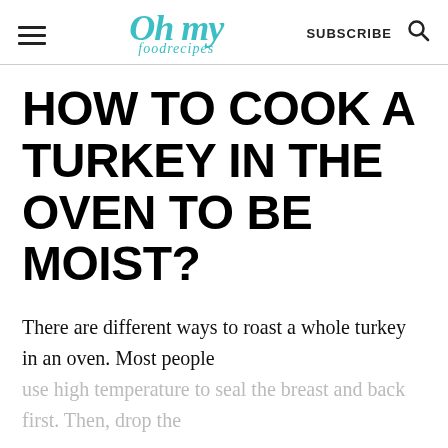Oh my foodrecipes | SUBSCRIBE
HOW TO COOK A TURKEY IN THE OVEN TO BE MOIST?
There are different ways to roast a whole turkey in an oven. Most people use high temperature to seal the breast and back first. Then, drop the